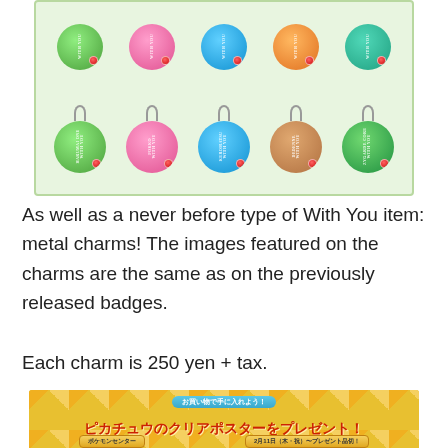[Figure (photo): Photo of Pokémon 'With You' metal charms arranged in two rows on a light green background. Top row shows 5 circular badges without clasps. Bottom row shows 5 circular charms with lobster clasp attachments, featuring Pokémon designs: Chespin, Fennekin, Froakie, Dedenne, and Zygarde Core, each labeled 'WITH YOU'.]
As well as a never before type of With You item: metal charms! The images featured on the charms are the same as on the previously released badges.
Each charm is 250 yen + tax.
[Figure (photo): Photo of a Pokémon Center promotional banner in Japanese. Yellow/orange background with decorative squares. A teal pill-shaped banner reads 'お買い物で手に入れよう！' (Get it with your shopping!). Large red text reads 'ピカチュウのクリアポスターをプレゼント！' (Pikachu clear poster present!). Bottom has two sub-labels: 'ポケモンセンター' (Pokémon Center) and a date with text about presentation.]